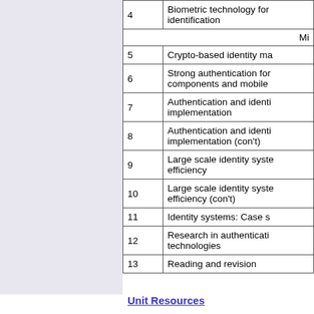| # | Topic |
| --- | --- |
| 4 | Biometric technology for identification |
|  | Mi… |
| 5 | Crypto-based identity ma… |
| 6 | Strong authentication for components and mobile… |
| 7 | Authentication and identi… implementation |
| 8 | Authentication and identi… implementation (con't) |
| 9 | Large scale identity syste… efficiency |
| 10 | Large scale identity syste… efficiency (con't) |
| 11 | Identity systems: Case s… |
| 12 | Research in authenticati… technologies |
| 13 | Reading and revision |
Unit Resources